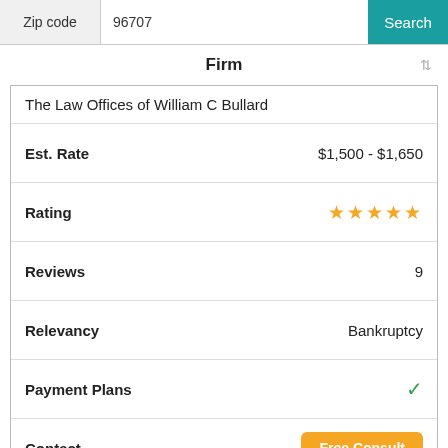Zip code  96707  Search
Firm
| Field | Value |
| --- | --- |
| The Law Offices of William C Bullard |  |
| Est. Rate | $1,500 - $1,650 |
| Rating | ★★★★★ |
| Reviews | 9 |
| Relevancy | Bankruptcy |
| Payment Plans | ✓ |
| Contact | Free Consult |
| Field | Value |
| --- | --- |
| Affinity Law Group |  |
| Est. Rate | $1,500 - $1,650 |